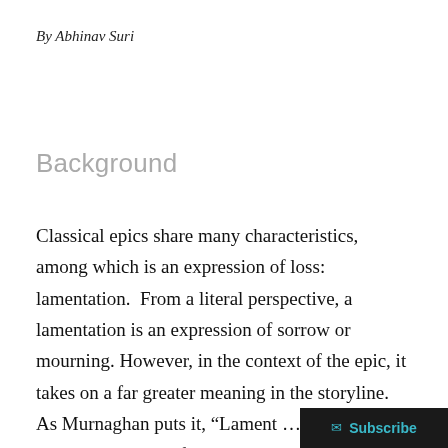By Abhinav Suri
Background
Classical epics share many characteristics, among which is an expression of loss: lamentation.  From a literal perspective, a lamentation is an expression of sorrow or mourning. However, in the context of the epic, it takes on a far greater meaning in the storyline. As Murnaghan puts it, “Lament … confers praise … on the actions of heroes, and more